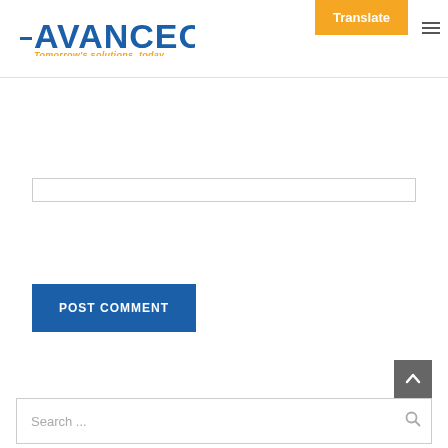Avanceon — Tomorrow's solutions, today.
[Figure (logo): Avanceon logo with tagline 'Tomorrow's solutions, today.' in blue and orange, with orange Translate button top right and hamburger menu icon]
POST COMMENT
Search ...